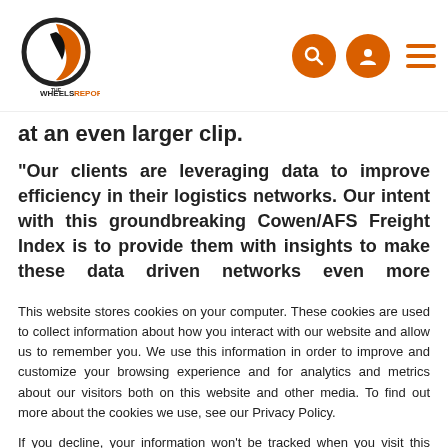The Wheels Report - logo and navigation
at an even larger clip.
“Our clients are leveraging data to improve efficiency in their logistics networks. Our intent with this groundbreaking Cowen/AFS Freight Index is to provide them with insights to make these data driven networks even more effective”
This website stores cookies on your computer. These cookies are used to collect information about how you interact with our website and allow us to remember you. We use this information in order to improve and customize your browsing experience and for analytics and metrics about our visitors both on this website and other media. To find out more about the cookies we use, see our Privacy Policy.
If you decline, your information won’t be tracked when you visit this website. A single cookie will be used in your browser to remember your preference not to be tracked.
Accept | Decline